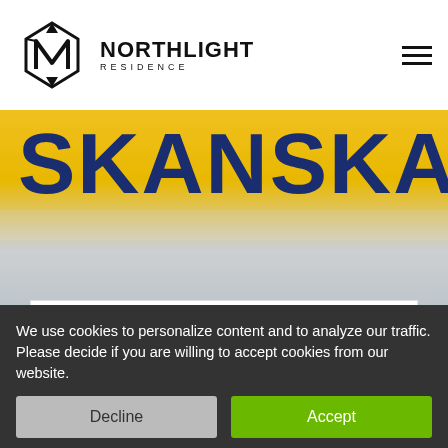[Figure (logo): Northlight Residence logo with diamond/arrow geometric icon and brand name]
[Figure (photo): Skanska yellow sign with dark blue letters, snowy/icy surface below]
Wall-street.ro: Skanska bought land in the New Bucharest area from Michael Topolinski for a new office space project
Skanska acquired a plot of l...
[Figure (infographic): Deal of the month popup with green cartoon character holding a pen]
We use cookies to personalize content and to analyze our traffic. Please decide if you are willing to accept cookies from our website.